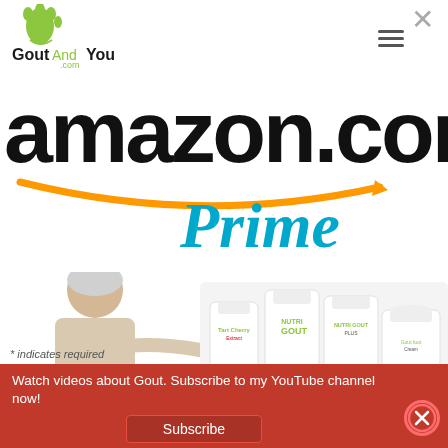[Figure (logo): GoutAndYou.com logo with green footprint icon and bold text]
[Figure (logo): amazon.com Prime logo in large black bold text with orange smile arrow and teal italic Prime text]
[Figure (photo): Elderly smiling man pointing at supplement bottles including Nutri Gout, Nutri Gout Plus, and Gout foot cream products, with a BUY NOW yellow button]
* indicates required
Watch videos about Gout. Subscribe to my YouTube channel now!
Subscribe